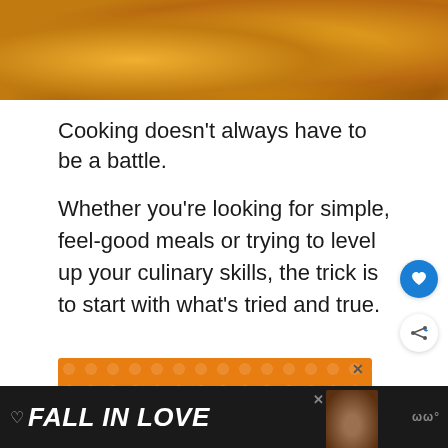[Figure (photo): Close-up photo of golden-brown roasted potato wedges on a surface]
Cooking doesn’t always have to be a battle.
Whether you’re looking for simple, feel-good meals or trying to level up your culinary skills, the trick is to start with what’s tried and true.
[Figure (screenshot): Orange advertisement banner with text CHANGE and dog imagery]
[Figure (screenshot): Black bottom bar advertisement reading FALL IN LOVE with dog image and close button]